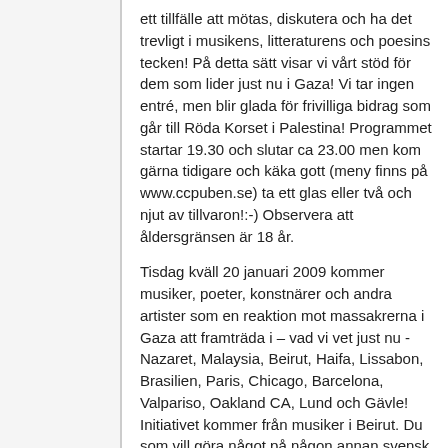ett tillfälle att mötas, diskutera och ha det trevligt i musikens, litteraturens och poesins tecken! På detta sätt visar vi vårt stöd för dem som lider just nu i Gaza! Vi tar ingen entré, men blir glada för frivilliga bidrag som går till Röda Korset i Palestina! Programmet startar 19.30 och slutar ca 23.00 men kom gärna tidigare och käka gott (meny finns på www.ccpuben.se) ta ett glas eller två och njut av tillvaron!:-) Observera att åldersgränsen är 18 år.
Tisdag kväll 20 januari 2009 kommer musiker, poeter, konstnärer och andra artister som en reaktion mot massakrerna i Gaza att framträda i – vad vi vet just nu - Nazaret, Malaysia, Beirut, Haifa, Lissabon, Brasilien, Paris, Chicago, Barcelona, Valpariso, Oakland CA, Lund och Gävle! Initiativet kommer från musiker i Beirut. Du som vill göra något på någon annan svensk ort, agera självständigt. Det är kort varsel. Det är kort varsel för människorna i Gaza också.
Du som läser det här - var vänlig bjud in alla